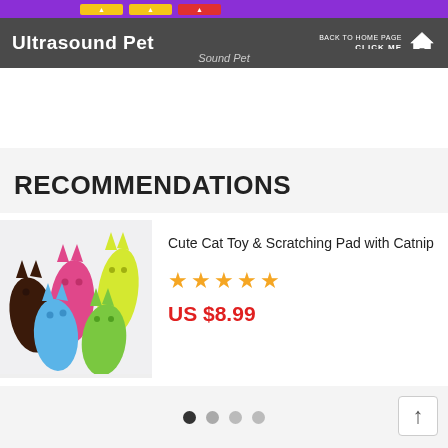Ultrasound Pet — Sound Pet | BACK TO HOME PAGE CLICK ME
Shipping & Payment
RECOMMENDATIONS
[Figure (photo): Several colorful plush cat toys shaped like cartoon cats in brown, pink, yellow, blue, and green colors arranged in a group on a white background]
Cute Cat Toy & Scratching Pad with Catnip
US $8.99